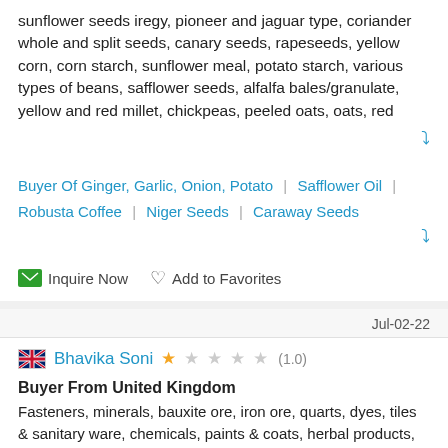sunflower seeds iregy, pioneer and jaguar type, coriander whole and split seeds, canary seeds, rapeseeds, yellow corn, corn starch, sunflower meal, potato starch, various types of beans, safflower seeds, alfalfa bales/granulate, yellow and red millet, chickpeas, peeled oats, oats, red
Buyer Of Ginger, Garlic, Onion, Potato | Safflower Oil | Robusta Coffee | Niger Seeds | Caraway Seeds
Inquire Now   Add to Favorites
Jul-02-22
Bhavika Soni ★ ☆ ☆ ☆ ☆ (1.0)
Buyer From United Kingdom
Fasteners, minerals, bauxite ore, iron ore, quarts, dyes, tiles & sanitary ware, chemicals, paints & coats, herbal products, psyllium and agro products, natural white